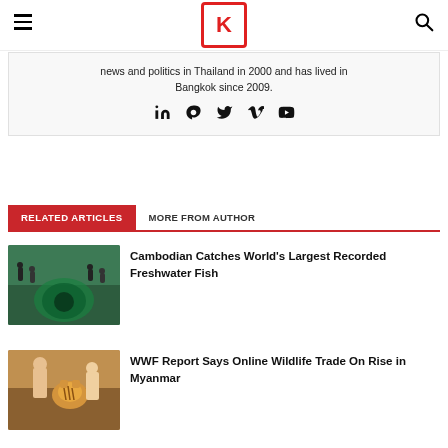Khaosod English
news and politics in Thailand in 2000 and has lived in Bangkok since 2009.
RELATED ARTICLES | MORE FROM AUTHOR
[Figure (photo): Thumbnail image showing people around a large fish in water with green netting]
Cambodian Catches World's Largest Recorded Freshwater Fish
[Figure (photo): Thumbnail image showing people with a tiger cub]
WWF Report Says Online Wildlife Trade On Rise in Myanmar